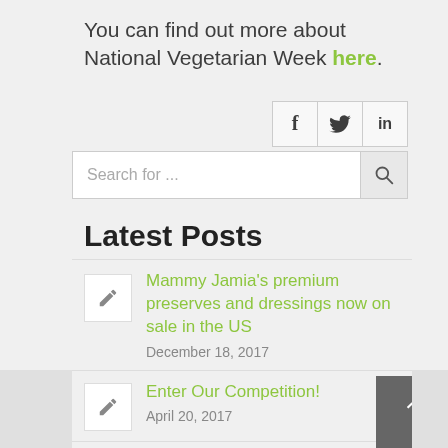You can find out more about National Vegetarian Week here.
[Figure (other): Social media share icons: Facebook (f), Twitter (bird), LinkedIn (in)]
[Figure (other): Search bar with placeholder text 'Search for ...' and a search icon button]
Latest Posts
Mammy Jamia's premium preserves and dressings now on sale in the US
December 18, 2017
Enter Our Competition!
April 20, 2017
In the Spotlight: Mammy